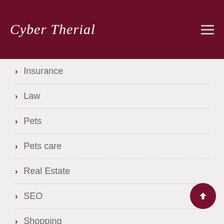Cyber Therial
Insurance
Law
Pets
Pets care
Real Estate
SEO
Shopping
skin care